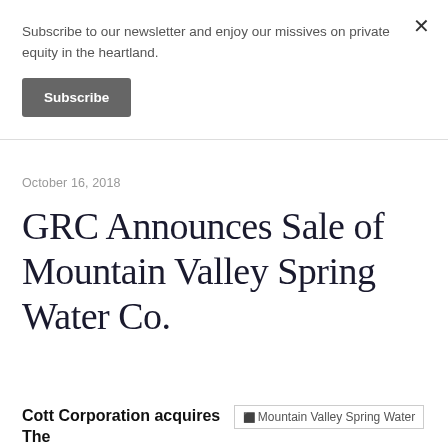Subscribe to our newsletter and enjoy our missives on private equity in the heartland.
Subscribe
October 16, 2018
GRC Announces Sale of Mountain Valley Spring Water Co.
Cott Corporation acquires The
[Figure (photo): Mountain Valley Spring Water logo/image placeholder]